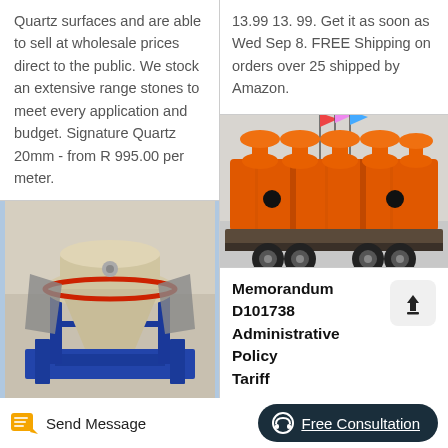Quartz surfaces and are able to sell at wholesale prices direct to the public. We stock an extensive range stones to meet every application and budget. Signature Quartz 20mm - from R 995.00 per meter.
13.99 13. 99. Get it as soon as Wed Sep 8. FREE Shipping on orders over 25 shipped by Amazon.
[Figure (photo): Industrial cone crusher machine on blue metal frame, beige/cream colored body with red accent, covered with grey tarps on sides]
[Figure (photo): Large orange industrial flotation or separation machine on a flatbed truck, with multiple orange mushroom-shaped covers on top and colored flags in background]
Memorandum D101738 Administrative Policy Tariff
Send Message
Free Consultation